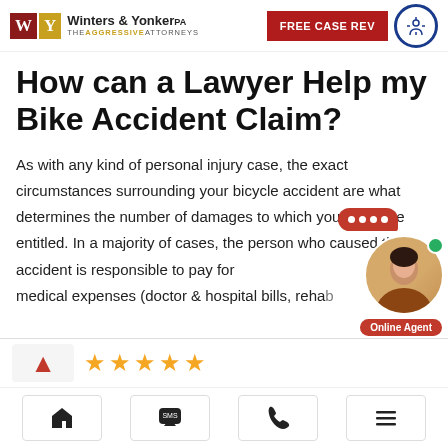Winters & Yonker PA — THE AGGRESSIVE ATTORNEYS | FREE CASE REVIEW
How can a Lawyer Help my Bike Accident Claim?
As with any kind of personal injury case, the exact circumstances surrounding your bicycle accident are what determines the number of damages to which you would be entitled. In a majority of cases, the person who caused the accident is responsible to pay for medical expenses (doctor & hospital bills, rehab
[Figure (screenshot): Five gold star rating review strip with red logo placeholder]
[Figure (screenshot): Mobile navigation bar with home, SMS, phone, and menu icons]
[Figure (screenshot): Online agent chat widget with red speech bubble and agent photo labeled Online Agent]